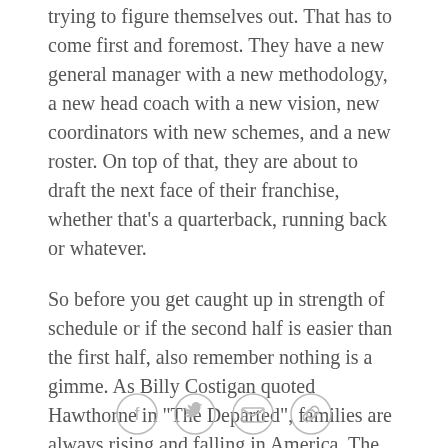trying to figure themselves out. That has to come first and foremost. They have a new general manager with a new methodology, a new head coach with a new vision, new coordinators with new schemes, and a new roster. On top of that, they are about to draft the next face of their franchise, whether that's a quarterback, running back or whatever.
So before you get caught up in strength of schedule or if the second half is easier than the first half, also remember nothing is a gimme. As Billy Costigan quoted Hawthorne in "The Departed", families are always rising and falling in America. The same can be said for teams in the NFL.
LANCE MEDOW
For just the second time in seven seasons, the
[Figure (infographic): Social sharing icons: Facebook, Twitter, Email, and Link/chain icon, arranged horizontally in circle outlines]